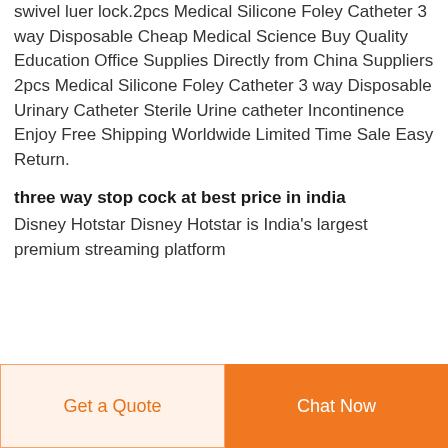swivel luer lock.2pcs Medical Silicone Foley Catheter 3 way Disposable Cheap Medical Science Buy Quality Education Office Supplies Directly from China Suppliers 2pcs Medical Silicone Foley Catheter 3 way Disposable Urinary Catheter Sterile Urine catheter Incontinence Enjoy Free Shipping Worldwide Limited Time Sale Easy Return.
three way stop cock at best price in india
Disney Hotstar Disney Hotstar is India's largest premium streaming platform
Get a Quote | Chat Now